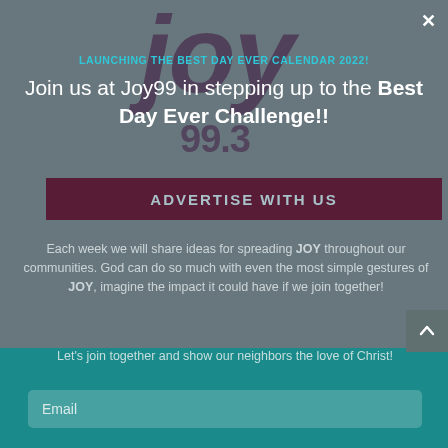LAUNCHING THE BEST DAY EVER CALENDAR 2022!
Join us at Joy99 in stepping up to the Best Day Ever Challenge!!
ADVERTISE WITH US
Each week we will share ideas for spreading JOY throughout our communities. God can do so much with even the most simple gestures of JOY, imagine the impact it could have if we join together!
Let's join together and show our neighbors the love of Christ!
Email